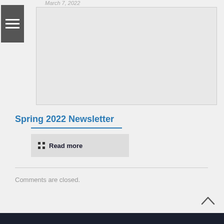March 7, 2022
[Figure (other): Blank/placeholder image box with light gray fill]
Spring 2022 Newsletter
Read more
Comments are closed.